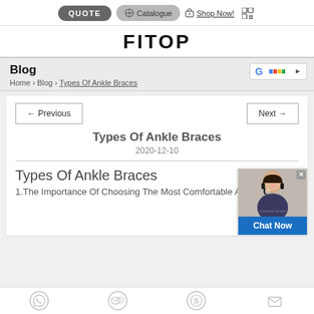QUOTE | Catalogue | Shop Now!
[Figure (logo): FITOP brand logo in bold black text]
Blog
Home › Blog › Types Of Ankle Braces
← Previous    Next →
Types Of Ankle Braces
2020-12-10
Types Of Ankle Braces
1.The Importance Of Choosing The Most Comfortable Ankle Protector
Social icons: WhatsApp, WeChat, Skype, Email